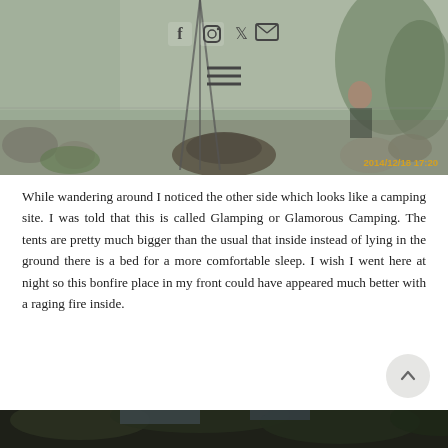[Figure (photo): Outdoor camping/glamping area with a bonfire fire pit surrounded by rocks, gravel ground, lush greenery and trees in the background. A person crouching is visible at right. Social media icons (Facebook, Instagram, Twitter, email) and a hamburger menu icon overlay the upper portion. Timestamp '2014/12/18 17:20' in yellow-gold text at bottom right of photo.]
While wandering around I noticed the other side which looks like a camping site. I was told that this is called Glamping or Glamorous Camping. The tents are pretty much bigger than the usual that inside instead of lying in the ground there is a bed for a more comfortable sleep. I wish I went here at night so this bonfire place in my front could have appeared much better with a raging fire inside.
[Figure (photo): Bottom portion of another outdoor photo showing dark tree canopy and sky, partially visible at the bottom of the page.]